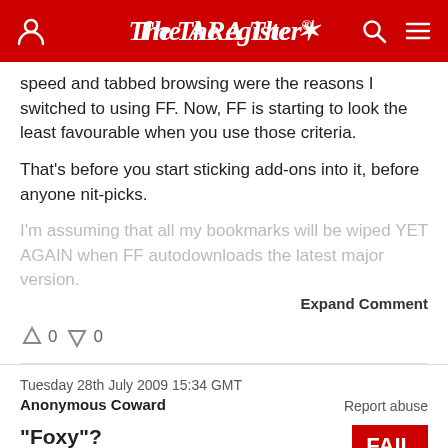The Register
speed and tabbed browsing were the reasons I switched to using FF. Now, FF is starting to look the least favourable when you use those criteria.
That's before you start sticking add-ons into it, before anyone nit-picks.
I'm assuming that all my bookmarks will be wiped YET AGAIN when FF autodownloads the latest major version.
Expand Comment
↑ 0  ↓ 0
Tuesday 28th July 2009 15:34 GMT
Anonymous Coward
Report abuse
"Foxy"?
"Foxy"?